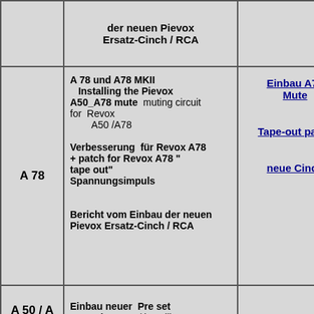| Model | Description | Link |
| --- | --- | --- |
|  | der neuen Pievox Ersatz-Cinch / RCA |  |
| A 78 | A 78  und  A78 MKII
Installing  the Pievox A50_A78 mute  muting circuit for  Revox A50 /A78

Verbesserung  für Revox A78
+ patch for Revox A78 "tape out"
Spannungsimpuls

Bericht vom Einbau der neuen Pievox Ersatz-Cinch / RCA | Einbau A78 Mute
Tape-out patch
neue Cinch |
| A 50 / A 78 | Einbau neuer  Pre set Potentiometer / installing new Pre set potentiometer | Pre set Pot D |